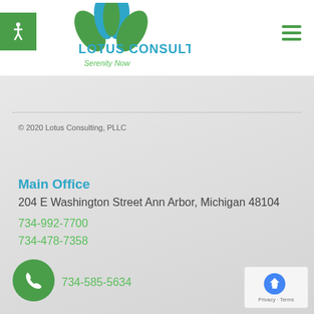[Figure (logo): Lotus Consulting PLLC logo with green and blue lotus flower graphic, company name in teal/blue, tagline 'Serenity Now' in green italic]
LOTUS CONSULTING, PLLC Serenity Now
© 2020 Lotus Consulting, PLLC
Main Office
204 E Washington Street Ann Arbor, Michigan 48104
734-992-7700
734-478-7358
734-585-5634